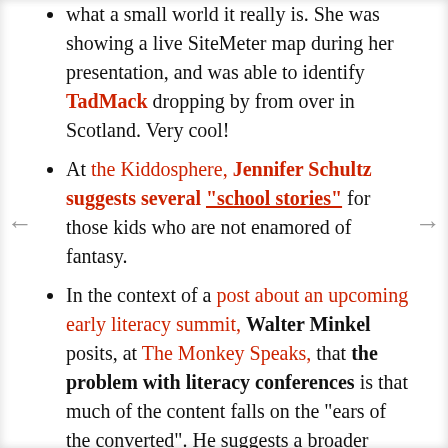what a small world it really is. She was showing a live SiteMeter map during her presentation, and was able to identify TadMack dropping by from over in Scotland. Very cool!
At the Kiddosphere, Jennifer Schultz suggests several "school stories" for those kids who are not enamored of fantasy.
In the context of a post about an upcoming early literacy summit, Walter Minkel posits, at The Monkey Speaks, that the problem with literacy conferences is that much of the content falls on the "ears of the converted". He suggests a broader approach, by which "we, the librarians out on the floor, who are visiting a school on a parents' night,